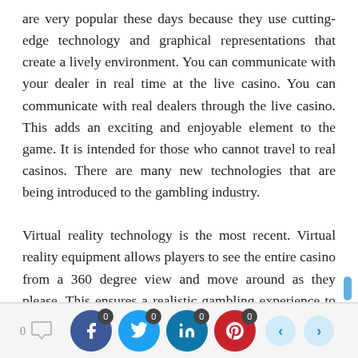are very popular these days because they use cutting-edge technology and graphical representations that create a lively environment. You can communicate with your dealer in real time at the live casino. You can communicate with real dealers through the live casino. This adds an exciting and enjoyable element to the game. It is intended for those who cannot travel to real casinos. There are many new technologies that are being introduced to the gambling industry.

Virtual reality technology is the most recent. Virtual reality equipment allows players to see the entire casino from a 360 degree view and move around as they please. This ensures a realistic gambling experience to the player without any need to actually go to a brick and mortar casino. The live casino is open 24/7. It is possible to play live casino any time you like. The significant need
[Figure (infographic): Social media share bar with comment count (0), Facebook share button with badge 0, Twitter share button with badge 0, LinkedIn share button with badge 0, Pinterest share button with badge 0, and left/right navigation arrows.]